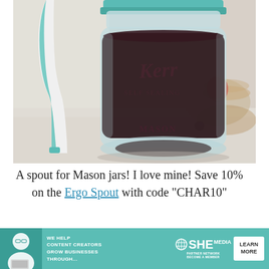[Figure (photo): A Mason jar (Kerr brand, labeled 'Self Sealing' and 'Mason') filled with dark liquid (syrup or similar), with a teal/white ergonomic spout attached to the top. Background shows a kitchen counter with pancakes, fruit (strawberry, blueberry), and a wooden board, blurred bokeh style.]
A spout for Mason jars! I love mine! Save 10% on the Ergo Spout with code "CHAR10"
[Figure (infographic): Teal advertisement banner: 'WE HELP CONTENT CREATORS GROW BUSINESSES THROUGH...' with SHE Media Partner Network logo and a 'LEARN MORE' button. Woman with laptop on left side.]